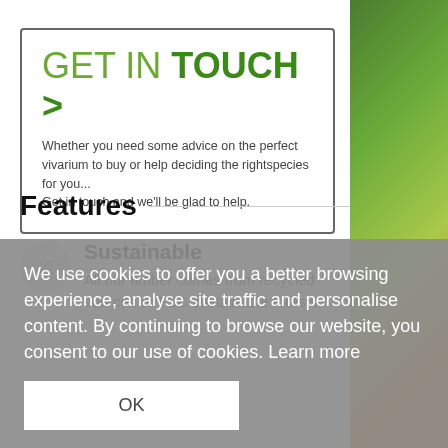GET IN TOUCH >
Whether you need some advice on the perfect vivarium to buy or help deciding the rightspecies for you... Get in touch and we'll be glad to help.
Features
Sustainable
All our timber comes from recycled sources or FSC sustainable forests.
We use cookies to offer you a better browsing experience, analyse site traffic and personalise content. By continuing to browse our website, you consent to our use of cookies. Learn more
OK